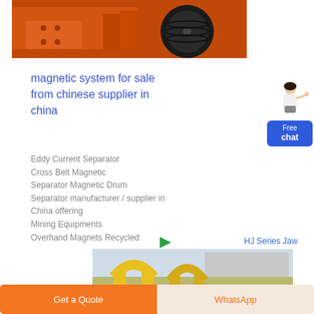[Figure (photo): Orange industrial jaw crusher machinery with black pulley wheel, photographed in a warehouse setting]
magnetic system for sale from chinese supplier in china
[Figure (illustration): Customer service representative figure (woman in white top) pointing, with blue Free chat button below]
Eddy Current Separator
Cross Belt Magnetic
Separator Magnetic Drum
Separator manufacturer / supplier in China offering
Mining Equipments
Overhand Magnets Recycled
HJ Series Jaw Crusher
[Figure (photo): Yellow industrial equipment/machinery photographed outdoors near a building]
Get a Quote
WhatsApp